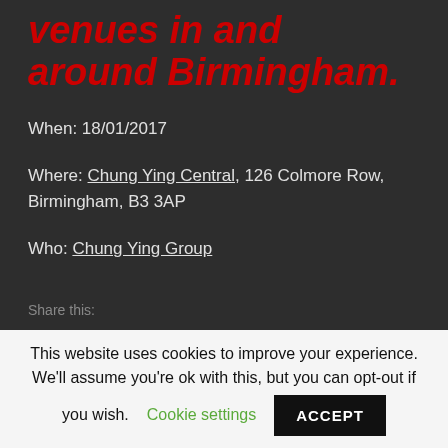Venues in and around Birmingham.
When: 18/01/2017
Where: Chung Ying Central, 126 Colmore Row, Birmingham, B3 3AP
Who: Chung Ying Group
Share this:
This website uses cookies to improve your experience. We'll assume you're ok with this, but you can opt-out if you wish. Cookie settings ACCEPT